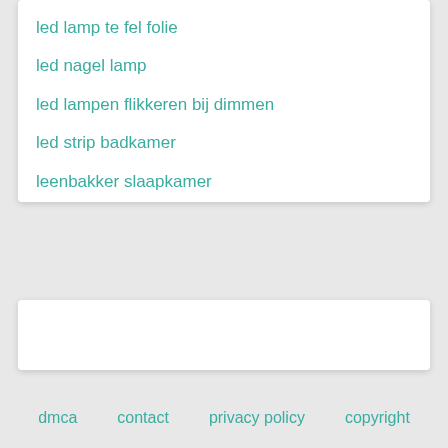led lamp te fel folie
led nagel lamp
led lampen flikkeren bij dimmen
led strip badkamer
leenbakker slaapkamer
dmca   contact   privacy policy   copyright